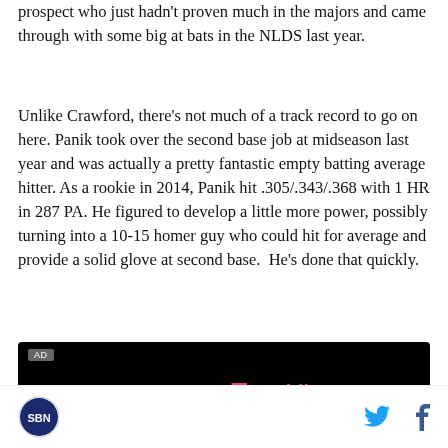prospect who just hadn't proven much in the majors and came through with some big at bats in the NLDS last year.
Unlike Crawford, there's not much of a track record to go on here. Panik took over the second base job at midseason last year and was actually a pretty fantastic empty batting average hitter. As a rookie in 2014, Panik hit .305/.343/.368 with 1 HR in 287 PA. He figured to develop a little more power, possibly turning into a 10-15 homer guy who could hit for average and provide a solid glove at second base.  He's done that quickly.
[Figure (other): AD banner: PRESENTED BY T-Mobile logo on black background]
SB Nation logo | Twitter icon | Facebook icon